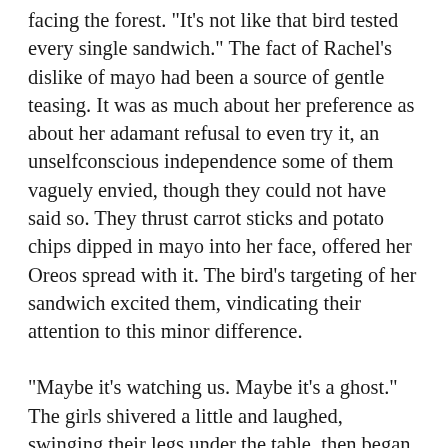facing the forest. "It's not like that bird tested every single sandwich." The fact of Rachel's dislike of mayo had been a source of gentle teasing. It was as much about her preference as about her adamant refusal to even try it, an unselfconscious independence some of them vaguely envied, though they could not have said so. They thrust carrot sticks and potato chips dipped in mayo into her face, offered her Oreos spread with it. The bird's targeting of her sandwich excited them, vindicating their attention to this minor difference.
"Maybe it's watching us. Maybe it's a ghost." The girls shivered a little and laughed, swinging their legs under the table, then began to discuss the afternoon activities. Whether to do crafts or archery. Whether the new kayak instructor was cute or creepy.
Rachel stayed quiet, her eyes unfocused on the edge of